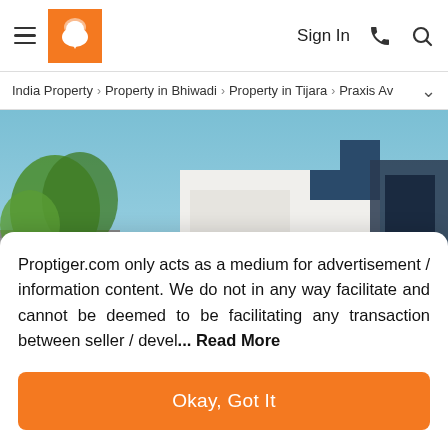Sign In
India Property > Property in Bhiwadi > Property in Tijara > Praxis Av
[Figure (photo): Exterior rendering of Avani Greens residential property showing a white building with green trees and blue sky]
Proptiger.com only acts as a medium for advertisement / information content. We do not in any way facilitate and cannot be deemed to be facilitating any transaction between seller / devel... Read More
Okay, Got It